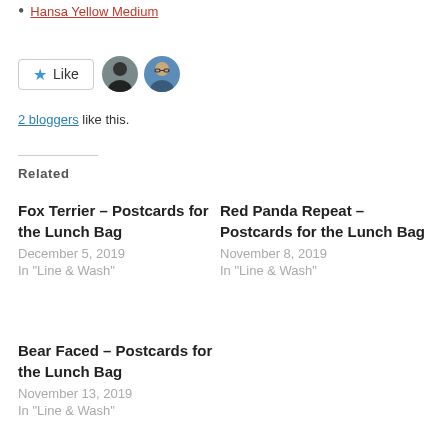Hansa Yellow Medium
[Figure (other): Like button with star icon and two blogger avatars]
2 bloggers like this.
Related
Fox Terrier – Postcards for the Lunch Bag
December 5, 2019
In "Line & Wash"
Red Panda Repeat – Postcards for the Lunch Bag
November 8, 2019
In "Line & Wash"
Bear Faced – Postcards for the Lunch Bag
November 13, 2019
In "Line & Wash"